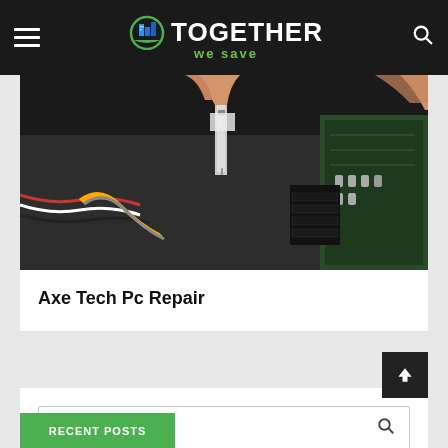Together We Save — navigation header with hamburger menu and search icon
[Figure (photo): Close-up photo of hands working inside a desktop computer, installing or removing a component, with circuit boards and cables visible]
Axe Tech Pc Repair
Enter keyword...
RECENT POSTS